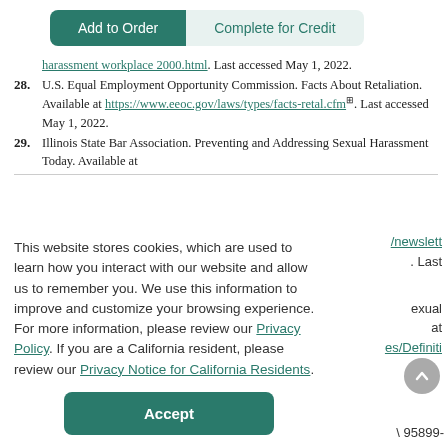[Figure (screenshot): Two buttons at top: 'Add to Order' (dark teal, rounded left) and 'Complete for Credit' (light teal, rounded right)]
harassment workplace 2000.html. Last accessed May 1, 2022.
28. U.S. Equal Employment Opportunity Commission. Facts About Retaliation. Available at https://www.eeoc.gov/laws/types/facts-retal.cfm. Last accessed May 1, 2022.
29. Illinois State Bar Association. Preventing and Addressing Sexual Harassment Today. Available at
This website stores cookies, which are used to learn how you interact with our website and allow us to remember you. We use this information to improve and customize your browsing experience. For more information, please review our Privacy Policy. If you are a California resident, please review our Privacy Notice for California Residents.
/newslett . Last
exual at es/Definiti
A 95899-
[Figure (screenshot): Accept button (dark teal, rounded) and scroll-to-top circular button (grey)]
Mention of commercial products does not indicate endorsement.